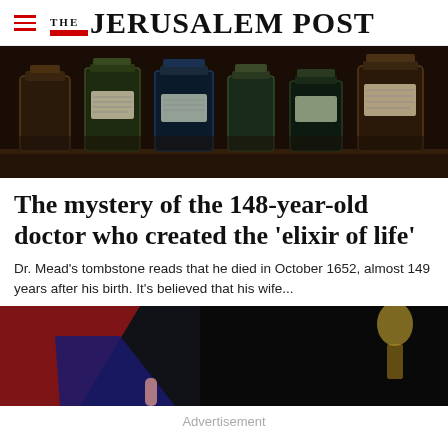THE JERUSALEM POST
[Figure (photo): Shelf with antique medicine/apothecary bottles with labels, dark background]
The mystery of the 148-year-old doctor who created the 'elixir of life'
Dr. Mead's tombstone reads that he died in October 1652, almost 149 years after his birth. It's believed that his wife...
[Figure (photo): Dark image with red and blue shapes, partial figure visible on right side]
Advertisement